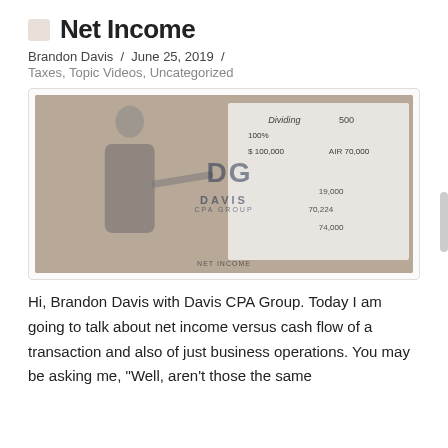Net Income
Brandon Davis / June 25, 2019 /
Taxes, Topic Videos, Uncategorized
[Figure (screenshot): Video thumbnail showing a man in a suit pointing at a whiteboard with financial figures. Davis CPA Group logo overlay. Text at bottom reads NET INCOME.]
Hi, Brandon Davis with Davis CPA Group. Today I am going to talk about net income versus cash flow of a transaction and also of just business operations. You may be asking me, "Well, aren't those the same